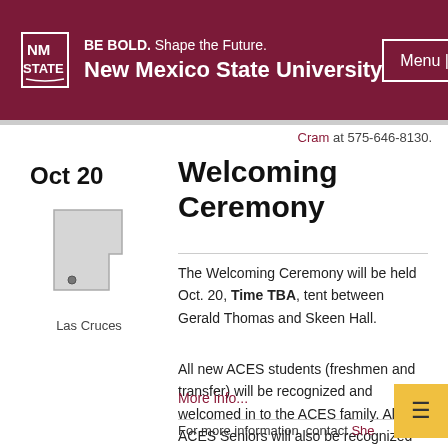BE BOLD. Shape the Future. New Mexico State University
Cram at 575-646-8130.
Oct 20  Welcoming Ceremony
[Figure (map): Outline map of New Mexico with a dot indicating Las Cruces location. Label: Las Cruces]
The Welcoming Ceremony will be held Oct. 20, Time TBA, tent between Gerald Thomas and Skeen Hall.

All new ACES students (freshmen and transfer) will be recognized and welcomed in to the ACES family. All ACES Seniors will also be recognized for their time as Aggies.
More info...
For more information, contact She